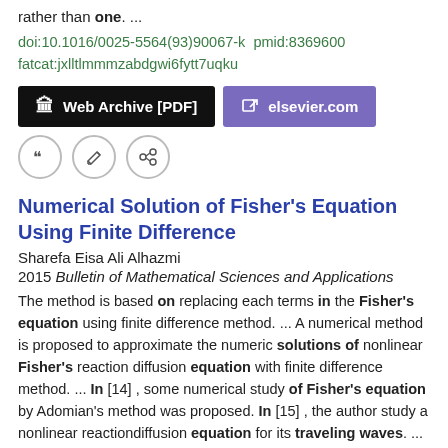rather than one.  ...
doi:10.1016/0025-5564(93)90067-k  pmid:8369600
fatcat:jxlltlmmmzabdgwi6fytt7uqku
[Figure (other): Two buttons: 'Web Archive [PDF]' (black background) and 'elsevier.com' (purple background), plus three icon buttons (quote, edit, link)]
Numerical Solution of Fisher's Equation Using Finite Difference
Sharefa Eisa Ali Alhazmi
2015 Bulletin of Mathematical Sciences and Applications
The method is based on replacing each terms in the Fisher's equation using finite difference method.  ...  A numerical method is proposed to approximate the numeric solutions of nonlinear Fisher's reaction diffusion equation with finite difference method.  ...  In [14] , some numerical study of Fisher's equation by Adomian's method was proposed. In [15] , the author study a nonlinear reactiondiffusion equation for its traveling waves.  ...
doi:10.18052/www.scipress.com/bmsa.12.27
fatcat:3tit5uv7wfan3cjkgicdm2ozem